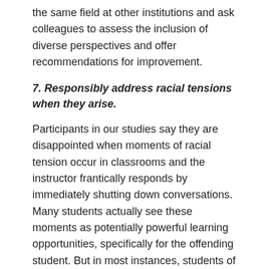the same field at other institutions and ask colleagues to assess the inclusion of diverse perspectives and offer recommendations for improvement.
7. Responsibly address racial tensions when they arise.
Participants in our studies say they are disappointed when moments of racial tension occur in classrooms and the instructor frantically responds by immediately shutting down conversations. Many students actually see these moments as potentially powerful learning opportunities, specifically for the offending student. But in most instances, students of color are left alone to grapple with their classmate's racially offensive statement or action. They wish their professors knew how to make better educational use of these moments. They also want faculty members, at minimum, to hold white students accountable for saying outrageously offensive things. Censorship and disciplinary action are not what they tell us they desire. Instead, they want white classmates at least to be challenged to think critically about how their statements affect others. Several NCORE